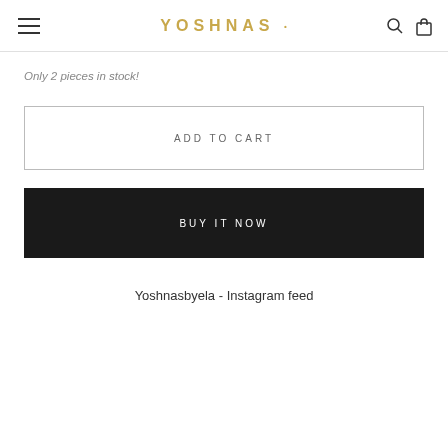YOSHNAS
Only 2 pieces in stock!
ADD TO CART
BUY IT NOW
Yoshnasbyela - Instagram feed